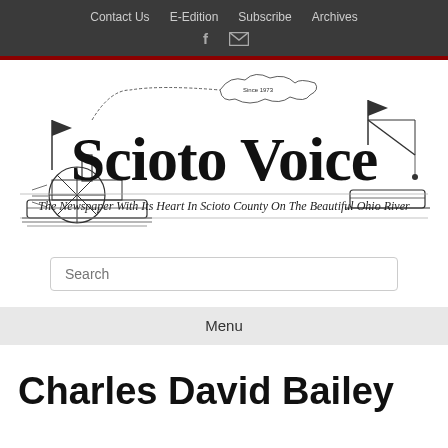Contact Us   E-Edition   Subscribe   Archives
[Figure (logo): Scioto Voice newspaper logo with steamboat and sailing vessel illustrations, tagline: The Newspaper With Its Heart In Scioto County On The Beautiful Ohio River]
Search
Menu
Charles David Bailey